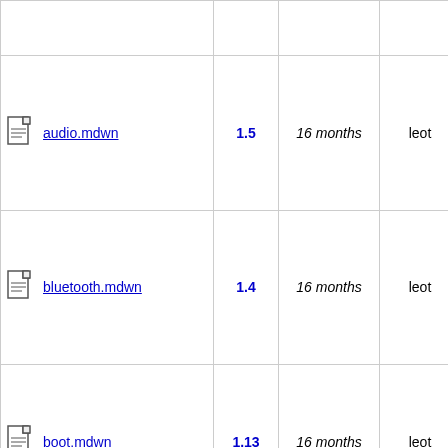| Name | Version | Age | Author | Description |
| --- | --- | --- | --- | --- |
|  |  |  |  | Guide htdocs |
| audio.mdwn | 1.5 | 16 months | leot | Dedup and re content the mainta The N Guide htdocs |
| bluetooth.mdwn | 1.4 | 16 months | leot | Dedup and re content the mainta The N Guide htdocs |
| boot.mdwn | 1.13 | 16 months | leot | Dedup and re content the mainta The N Guide htdocs |
|  |  |  |  | Dedup |